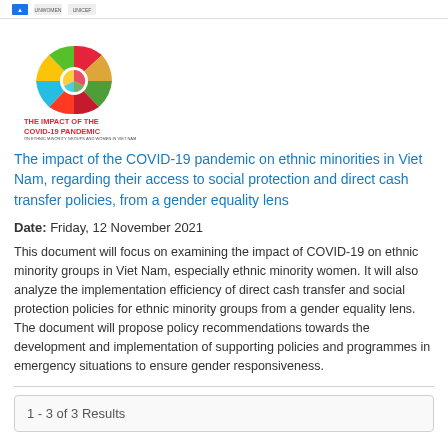[Figure (logo): Colorful SDG-style pinwheel logo with text 'THE IMPACT OF THE COVID-19 PANDEMIC' below it, alongside small partner organization logos at the top]
The impact of the COVID-19 pandemic on ethnic minorities in Viet Nam, regarding their access to social protection and direct cash transfer policies, from a gender equality lens
Date: Friday, 12 November 2021
This document will focus on examining the impact of COVID-19 on ethnic minority groups in Viet Nam, especially ethnic minority women. It will also analyze the implementation efficiency of direct cash transfer and social protection policies for ethnic minority groups from a gender equality lens. The document will propose policy recommendations towards the development and implementation of supporting policies and programmes in emergency situations to ensure gender responsiveness.
1 - 3 of 3 Results